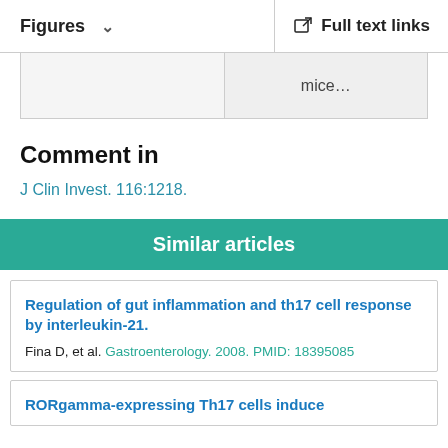Figures   Full text links
mice…
Comment in
J Clin Invest. 116:1218.
Similar articles
Regulation of gut inflammation and th17 cell response by interleukin-21.
Fina D, et al. Gastroenterology. 2008. PMID: 18395085
RORgamma-expressing Th17 cells induce colonic bowel inflammation…